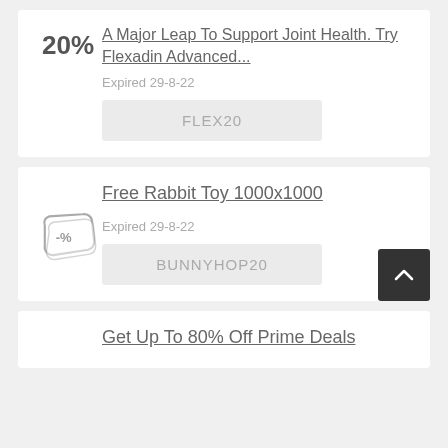A Major Leap To Support Joint Health. Try Flexadin Advanced...
20%
Expired 29-8-22
FLEX20
Free Rabbit Toy 1000x1000
[Figure (illustration): Coupon tag icon with -% symbol]
Expired 29-8-22
BUNNYHOP20
Get Up To 80% Off Prime Deals